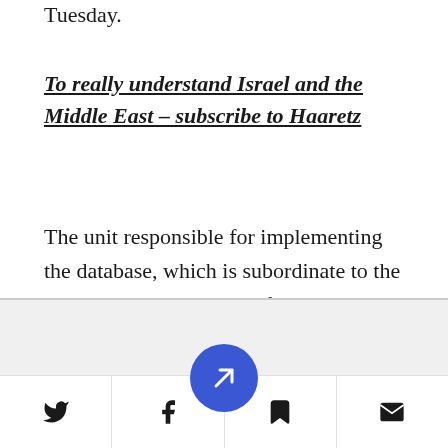Tuesday.
To really understand Israel and the Middle East – subscribe to Haaretz
The unit responsible for implementing the database, which is subordinate to the National Cyber Bureau of the Prime Minister's Office, reviewed data from the Interior Ministry's Population Registry, the National Biometric Database Authority and the police from July 2017 through July 2018.
[Figure (screenshot): Bottom navigation toolbar with Twitter, Facebook, a central blue circular Haaretz logo button, bookmark, and email icons]